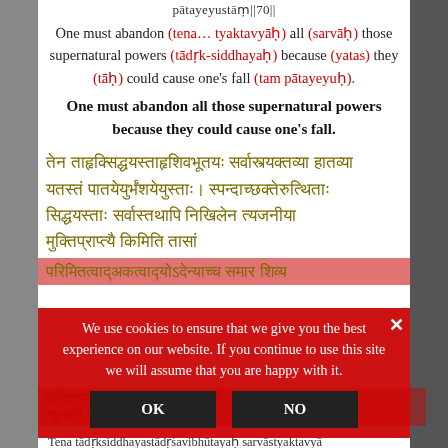pātayeyustāṃ||70||
One must abandon (tena… tyaktavyāḥ) all (sarvāḥ) those supernatural powers (tādṛk-siddhayaḥ) because (yatas) they (tāḥ) could cause one's fall (tam pātayeyuḥ).
One must abandon all those supernatural powers because they could cause one's fall.
तेन ताहृक्सिद्धयस्ताहृशिवभूतयः सर्वास्त्यक्तव्या हातव्या यतस्तं पातयेयुर्भंशयेयुस्ताः। स्पन्दाच्छक्तेरुत्थिताः सिद्धयस्ताः सर्वास्तथापि निखिलेन त्यजनीया मुक्तिप्राप्त्यै किमिति तासां
We use cookies to ensure that we give you the best experience on our website. If you continue to use this site we will assume that you are happy with it.
OK  NO
परिमितत्वाद्‌अकत्वाद्‍योऽदेन्याच्च समार शिव्य
समित्रपसूत्रतः पत्... ...समाधावुपसर्गो व्युत्थाने सिद्धय...
Tena tādṛksiddhayastādṛśavibhūtayaḥ sarvāstyaktavyā